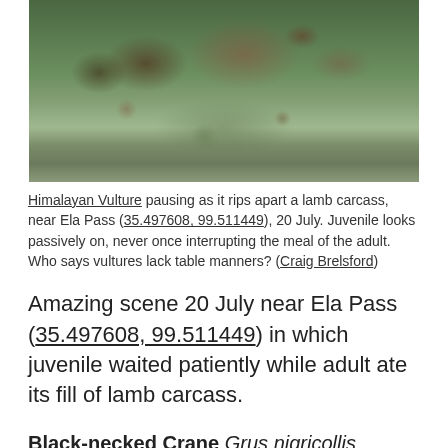[Figure (photo): A Himalayan Vulture ripping apart a lamb carcass on grassy ground near Ela Pass, with rocks visible in the background.]
Himalayan Vulture pausing as it rips apart a lamb carcass, near Ela Pass (35.497608, 99.511449), 20 July. Juvenile looks passively on, never once interrupting the meal of the adult. Who says vultures lack table manners? (Craig Brelsford)
Amazing scene 20 July near Ela Pass (35.497608, 99.511449) in which juvenile waited patiently while adult ate its fill of lamb carcass.
Black-necked Crane Grus nigricollis
16 around Maduo County wetlands, at Donggeicuona, and at Chaka.